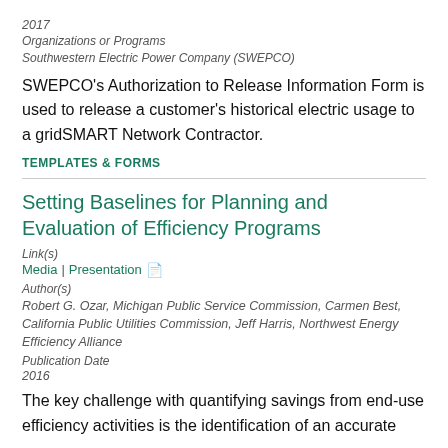2017
Organizations or Programs
Southwestern Electric Power Company (SWEPCO)
SWEPCO's Authorization to Release Information Form is used to release a customer's historical electric usage to a gridSMART Network Contractor.
TEMPLATES & FORMS
Setting Baselines for Planning and Evaluation of Efficiency Programs
Link(s)
Media | Presentation
Author(s)
Robert G. Ozar, Michigan Public Service Commission, Carmen Best, California Public Utilities Commission, Jeff Harris, Northwest Energy Efficiency Alliance
Publication Date
2016
The key challenge with quantifying savings from end-use efficiency activities is the identification of an accurate